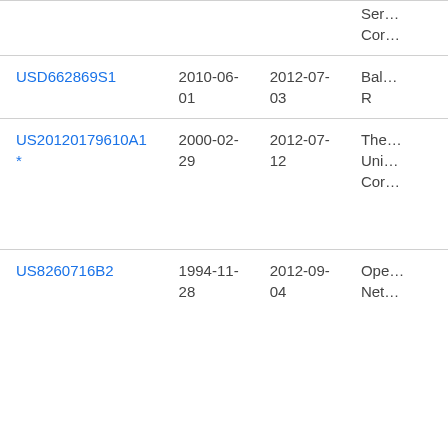| Patent | Filed | Published | Assignee |
| --- | --- | --- | --- |
| (partial) | (partial) | (partial) | Ser…
Cor… |
| USD662869S1 | 2010-06-01 | 2012-07-03 | Bal…
R |
| US20120179610A1 * | 2000-02-29 | 2012-07-12 | The…
Uni…
Cor… |
| US8260716B2 | 1994-11-28 | 2012-09-04 | Ope…
Net… |
| US8279042B2 | 2001-07-10 | 2012-10-02 | Xat…
Llc… |
| US8289136B2 (partial) | 2001-07-10 (partial) | 2012-10-16 (partial) | Xat… (partial) |